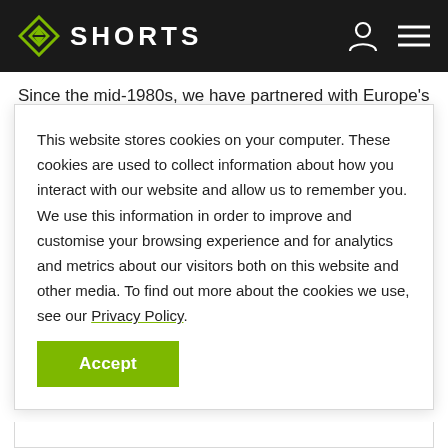SHORTS
Since the mid-1980s, we have partnered with Europe's leading
This website stores cookies on your computer. These cookies are used to collect information about how you interact with our website and allow us to remember you. We use this information in order to improve and customise your browsing experience and for analytics and metrics about our visitors both on this website and other media. To find out more about the cookies we use, see our Privacy Policy.
Accept